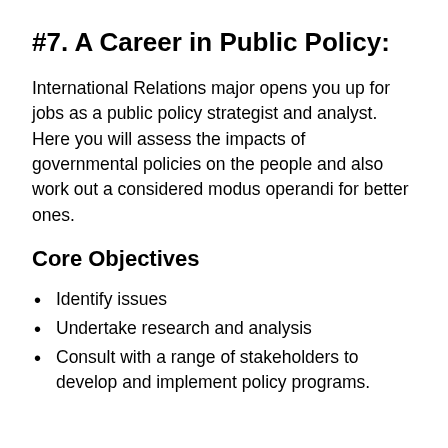#7. A Career in Public Policy:
International Relations major opens you up for jobs as a public policy strategist and analyst. Here you will assess the impacts of governmental policies on the people and also work out a considered modus operandi for better ones.
Core Objectives
Identify issues
Undertake research and analysis
Consult with a range of stakeholders to develop and implement policy programs.